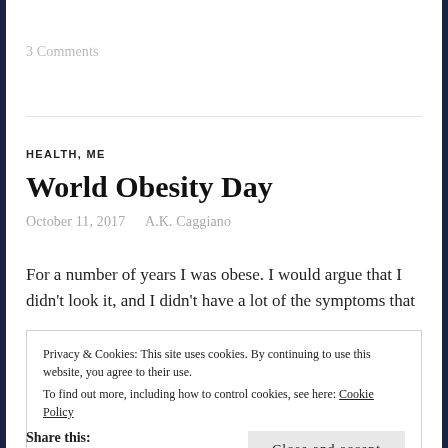3 Comments
HEALTH, ME
World Obesity Day
October 11, 2017   A.K. Caggiano
For a number of years I was obese. I would argue that I didn't look it, and I didn't have a lot of the symptoms that
Privacy & Cookies: This site uses cookies. By continuing to use this website, you agree to their use.
To find out more, including how to control cookies, see here: Cookie Policy
Close and accept
Share this: